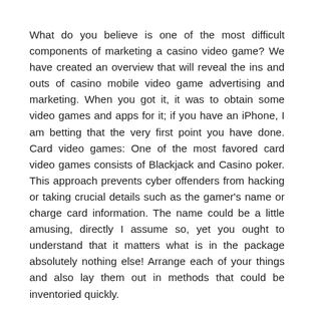What do you believe is one of the most difficult components of marketing a casino video game? We have created an overview that will reveal the ins and outs of casino mobile video game advertising and marketing. When you got it, it was to obtain some video games and apps for it; if you have an iPhone, I am betting that the very first point you have done. Card video games: One of the most favored card video games consists of Blackjack and Casino poker. This approach prevents cyber offenders from hacking or taking crucial details such as the gamer's name or charge card information. The name could be a little amusing, directly I assume so, yet you ought to understand that it matters what is in the package absolutely nothing else! Arrange each of your things and also lay them out in methods that could be inventoried quickly.
Betting that you have found out the significance of getting numerous relocating quotes, I think you're going